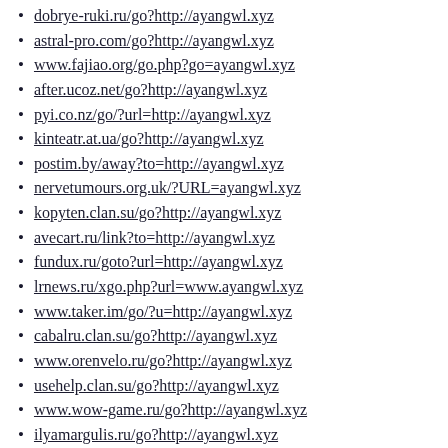dobrye-ruki.ru/go?http://ayangwl.xyz
astral-pro.com/go?http://ayangwl.xyz
www.fajiao.org/go.php?go=ayangwl.xyz
after.ucoz.net/go?http://ayangwl.xyz
pyi.co.nz/go/?url=http://ayangwl.xyz
kinteatr.at.ua/go?http://ayangwl.xyz
postim.by/away?to=http://ayangwl.xyz
nervetumours.org.uk/?URL=ayangwl.xyz
kopyten.clan.su/go?http://ayangwl.xyz
avecart.ru/link?to=http://ayangwl.xyz
fundux.ru/goto?url=http://ayangwl.xyz
lrnews.ru/xgo.php?url=www.ayangwl.xyz
www.taker.im/go/?u=http://ayangwl.xyz
cabalru.clan.su/go?http://ayangwl.xyz
www.orenvelo.ru/go?http://ayangwl.xyz
usehelp.clan.su/go?http://ayangwl.xyz
www.wow-game.ru/go?http://ayangwl.xyz
ilyamargulis.ru/go?http://ayangwl.xyz
ram.ne.jp/link.cgi?http://ayangwl.xyz